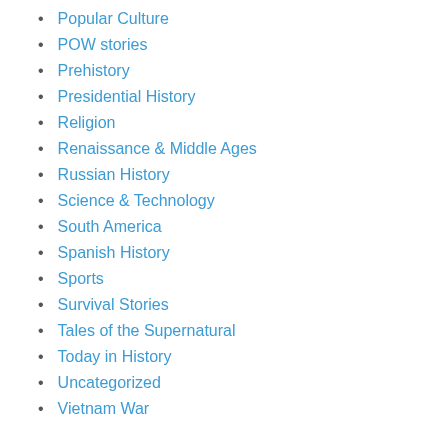Popular Culture
POW stories
Prehistory
Presidential History
Religion
Renaissance & Middle Ages
Russian History
Science & Technology
South America
Spanish History
Sports
Survival Stories
Tales of the Supernatural
Today in History
Uncategorized
Vietnam War